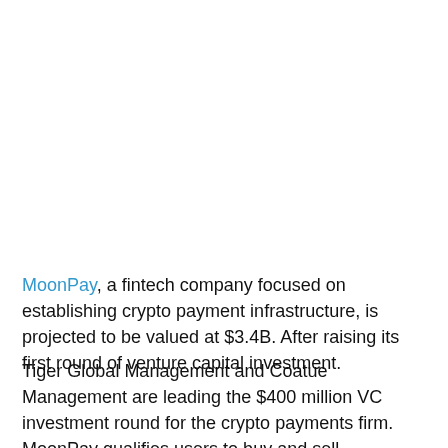MoonPay, a fintech company focused on establishing crypto payment infrastructure, is projected to be valued at $3.4B. After raising its first round of venture capital investment.
Tiger Global Management and Coatue Management are leading the $400 million VC investment round for the crypto payments firm. MoonPay qualifies users to buy and sell cryptocurrencies and digital assets via traditional payment methods. Credit, debit, and...